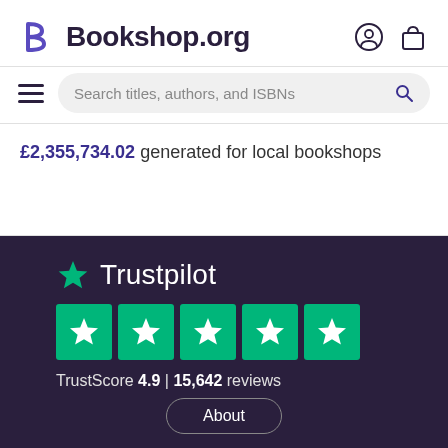[Figure (logo): Bookshop.org logo with stylized B letter and site name]
Search titles, authors, and ISBNs
£2,355,734.02 generated for local bookshops
[Figure (logo): Trustpilot logo with green star and five green star boxes showing TrustScore 4.9 | 15,642 reviews]
TrustScore 4.9 | 15,642 reviews
About